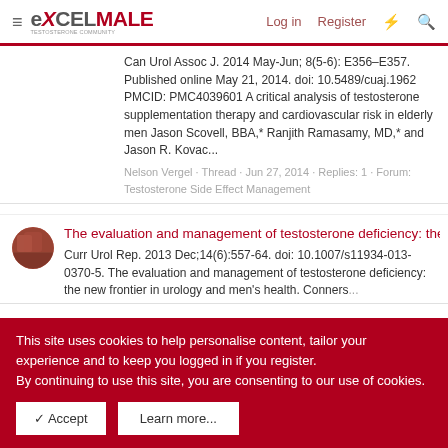ExcelMale | Log in | Register
Can Urol Assoc J. 2014 May-Jun; 8(5-6): E356–E357. Published online May 21, 2014. doi: 10.5489/cuaj.1962 PMCID: PMC4039601 A critical analysis of testosterone supplementation therapy and cardiovascular risk in elderly men Jason Scovell, BBA,* Ranjith Ramasamy, MD,* and Jason R. Kovac...
Nelson Vergel · Thread · Jun 27, 2014 · Replies: 1 · Forum: Testosterone Side Effect Management
The evaluation and management of testosterone deficiency: the new frontier in urology and men's heal
Curr Urol Rep. 2013 Dec;14(6):557-64. doi: 10.1007/s11934-013-0370-5. The evaluation and management of testosterone deficiency: the new frontier in urology and men's health. Conners...
This site uses cookies to help personalise content, tailor your experience and to keep you logged in if you register.
By continuing to use this site, you are consenting to our use of cookies.